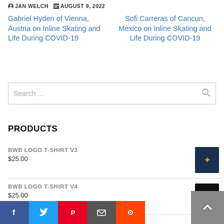JAN WELCH   AUGUST 9, 2022
Gabriel Hyden of Vienna, Austria on Inline Skating and Life During COVID-19
Sofi Carreras of Cancun, Mexico on Inline Skating and Life During COVID-19
Search ...
PRODUCTS
BWB LOGO T-SHIRT V3
$25.00
BWB LOGO T-SHIRT V4
$25.00
BWB 5 PANEL CAMP...
$25.00